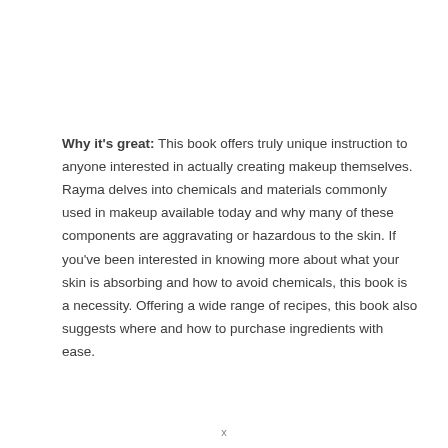Why it's great: This book offers truly unique instruction to anyone interested in actually creating makeup themselves. Rayma delves into chemicals and materials commonly used in makeup available today and why many of these components are aggravating or hazardous to the skin. If you've been interested in knowing more about what your skin is absorbing and how to avoid chemicals, this book is a necessity. Offering a wide range of recipes, this book also suggests where and how to purchase ingredients with ease.
x